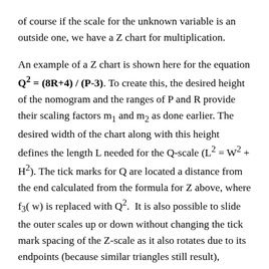of course if the scale for the unknown variable is an outside one, we have a Z chart for multiplication.
An example of a Z chart is shown here for the equation Q² = (8R+4) / (P-3). To create this, the desired height of the nomogram and the ranges of P and R provide their scaling factors m₁ and m₂ as done earlier. The desired width of the chart along with this height defines the length L needed for the Q-scale (L² = W² + H²). The tick marks for Q are located a distance from the end calculated from the formula for Z above, where f₃( w) is replaced with Q².  It is also possible to slide the outer scales up or down without changing the tick mark spacing of the Z-scale as it also rotates due to its endpoints (because similar triangles still result), yielding in a nomogram with a perpendicular Z-scale as shown in an example in the second part of this essay.